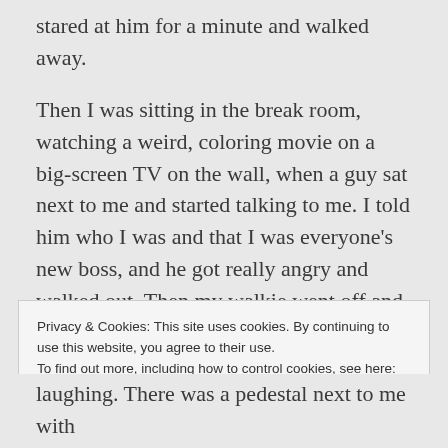stared at him for a minute and walked away.
Then I was sitting in the break room, watching a weird, coloring movie on a big-screen TV on the wall, when a guy sat next to me and started talking to me. I told him who I was and that I was everyone's new boss, and he got really angry and walked out. Then my walkie went off and someone announced that there was a food fight happening in the grocery section.
Privacy & Cookies: This site uses cookies. By continuing to use this website, you agree to their use.
To find out more, including how to control cookies, see here: Cookie Policy
Close and accept
laughing. There was a pedestal next to me with